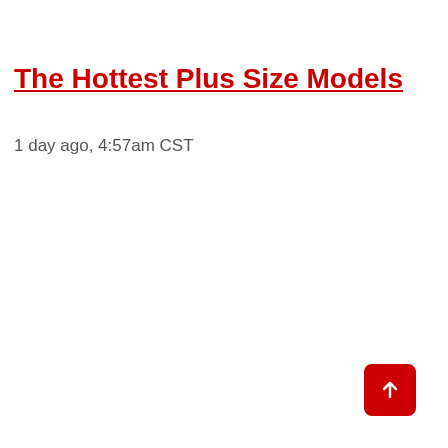The Hottest Plus Size Models
1 day ago, 4:57am CST